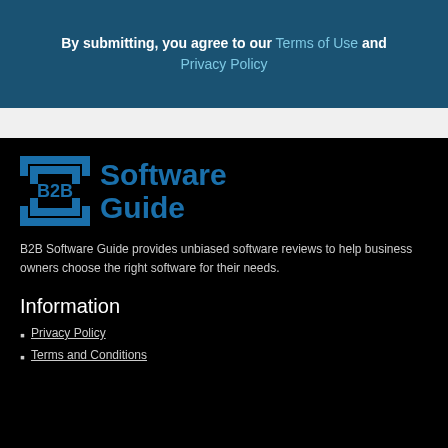By submitting, you agree to our Terms of Use and Privacy Policy
[Figure (logo): B2B Software Guide logo with bracket icon and blue text]
B2B Software Guide provides unbiased software reviews to help business owners choose the right software for their needs.
Information
Privacy Policy
Terms and Conditions